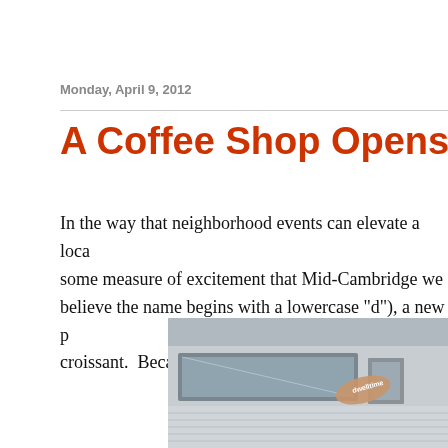Monday, April 9, 2012
A Coffee Shop Opens in Mid-Ca
In the way that neighborhood events can elevate a loca some measure of excitement that Mid-Cambridge we believe the name begins with a lowercase "d"), a new p croissant.  Because in Mid-Cambridge, that is what w
[Figure (photo): Storefront image with a tag labeled 'dwelltime']